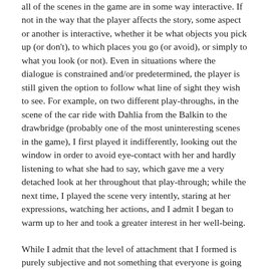all of the scenes in the game are in some way interactive. If not in the way that the player affects the story, some aspect or another is interactive, whether it be what objects you pick up (or don't), to which places you go (or avoid), or simply to what you look (or not). Even in situations where the dialogue is constrained and/or predetermined, the player is still given the option to follow what line of sight they wish to see. For example, on two different play-throughs, in the scene of the car ride with Dahlia from the Balkin to the drawbridge (probably one of the most uninteresting scenes in the game), I first played it indifferently, looking out the window in order to avoid eye-contact with her and hardly listening to what she had to say, which gave me a very detached look at her throughout that play-through; while the next time, I played the scene very intently, staring at her expressions, watching her actions, and I admit I began to warm up to her and took a greater interest in her well-being.
While I admit that the level of attachment that I formed is purely subjective and not something that everyone is going to experience, it's the fact that the game allows you to choose your level of interaction that helps you to formulate your opinion, which lends itself greatly to subtlety and nuance. In that aspect alone, Shattered Memories excels extraordinarily above the series.